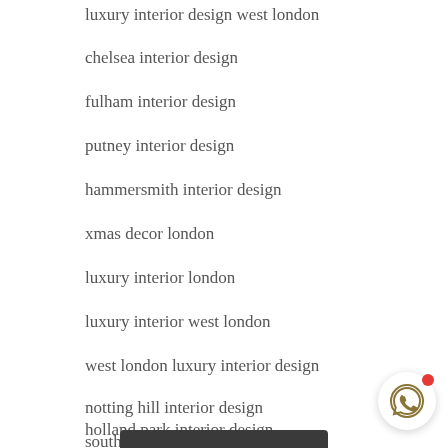luxury interior design west london
chelsea interior design
fulham interior design
putney interior design
hammersmith interior design
xmas decor london
luxury interior london
luxury interior west london
west london luxury interior design
notting hill interior design
holland park interior design
south kensington interior design
[Figure (illustration): WhatsApp chat button icon with red notification dot, circular white button with drop shadow in bottom right corner]